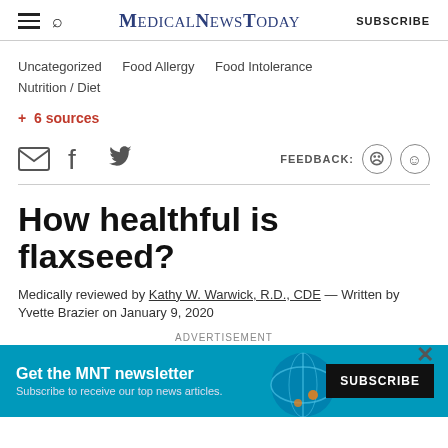MedicalNewsToday
Uncategorized   Food Allergy   Food Intolerance   Nutrition / Diet
+ 6 sources
FEEDBACK:
How healthful is flaxseed?
Medically reviewed by Kathy W. Warwick, R.D., CDE — Written by Yvette Brazier on January 9, 2020
ADVERTISEMENT
Get the MNT newsletter
Subscribe to receive our top news articles.
SUBSCRIBE